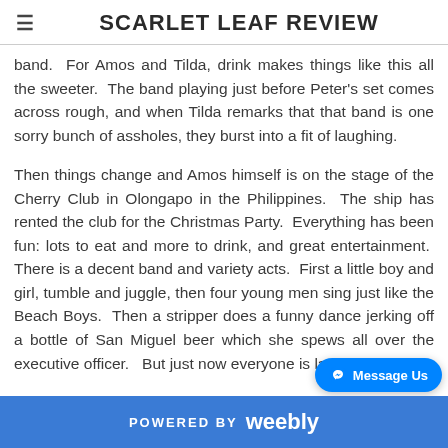SCARLET LEAF REVIEW
band.  For Amos and Tilda, drink makes things like this all the sweeter.  The band playing just before Peter's set comes across rough, and when Tilda remarks that that band is one sorry bunch of assholes, they burst into a fit of laughing.
Then things change and Amos himself is on the stage of the Cherry Club in Olongapo in the Philippines.  The ship has rented the club for the Christmas Party.  Everything has been fun: lots to eat and more to drink, and great entertainment.  There is a decent band and variety acts.  First a little boy and girl, tumble and juggle, then four young men sing just like the Beach Boys.  Then a stripper does a funny dance jerking off a bottle of San Miguel beer which she spews all over the executive officer.   But just now everyone is laughing.
POWERED BY weebly